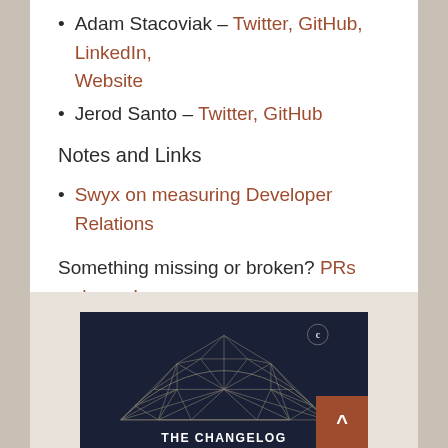Adam Stacoviak – Twitter, GitHub, LinkedIn, Website
Jerod Santo – Twitter, GitHub
Notes and Links
Swyx on measuring Developer Relations
Something missing or broken? PRs welcome!
[Figure (logo): The Changelog podcast logo — dark navy background with geodesic dome wireframe illustration and text 'THE CHANGELOG' at the bottom. A circular C logo badge appears in the top right corner.]